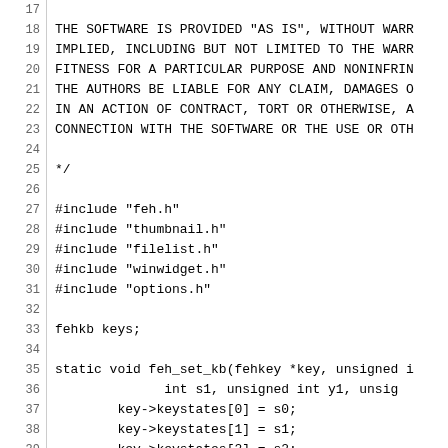Source code listing lines 17-47, C file with license header and code for feh_set_kb and ignore_space functions